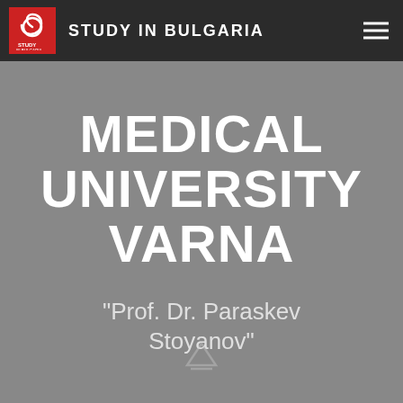STUDY IN BULGARIA
MEDICAL UNIVERSITY VARNA
“Prof. Dr. Paraskev Stoyanov”